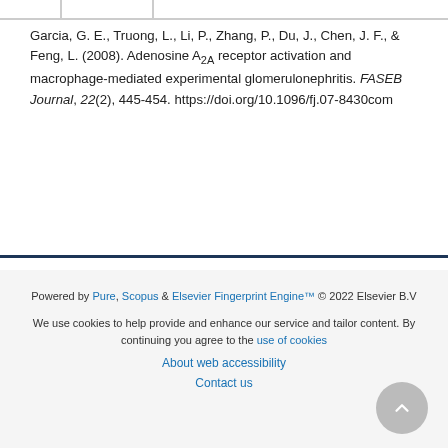Garcia, G. E., Truong, L., Li, P., Zhang, P., Du, J., Chen, J. F., & Feng, L. (2008). Adenosine A2A receptor activation and macrophage-mediated experimental glomerulonephritis. FASEB Journal, 22(2), 445-454. https://doi.org/10.1096/fj.07-8430com
[Figure (other): Social share bar with icons for share, Facebook, Twitter, LinkedIn, and email on a dark navy background]
Powered by Pure, Scopus & Elsevier Fingerprint Engine™ © 2022 Elsevier B.V
We use cookies to help provide and enhance our service and tailor content. By continuing you agree to the use of cookies
About web accessibility
Contact us